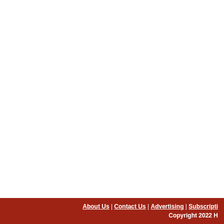About Us | Contact Us | Advertising | Subscripti
Copyright 2022 H